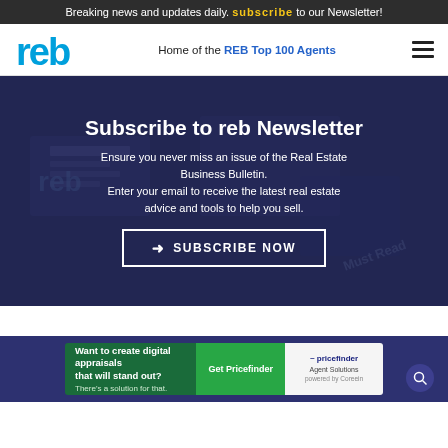Breaking news and updates daily. Subscribe to our Newsletter!
[Figure (logo): reb logo in blue with stylized letters]
Home of the REB Top 100 Agents
Subscribe to reb Newsletter
Ensure you never miss an issue of the Real Estate Business Bulletin. Enter your email to receive the latest real estate advice and tools to help you sell.
➜ SUBSCRIBE NOW
[Figure (infographic): Advertisement for Pricefinder Agent Solutions with green background and Get Pricefinder button]